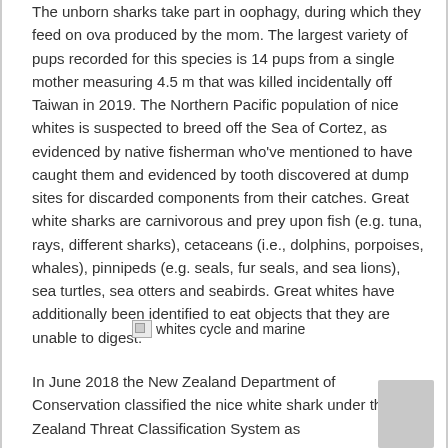The unborn sharks take part in oophagy, during which they feed on ova produced by the mom. The largest variety of pups recorded for this species is 14 pups from a single mother measuring 4.5 m that was killed incidentally off Taiwan in 2019. The Northern Pacific population of nice whites is suspected to breed off the Sea of Cortez, as evidenced by native fisherman who've mentioned to have caught them and evidenced by tooth discovered at dump sites for discarded components from their catches. Great white sharks are carnivorous and prey upon fish (e.g. tuna, rays, different sharks), cetaceans (i.e., dolphins, porpoises, whales), pinnipeds (e.g. seals, fur seals, and sea lions), sea turtles, sea otters and seabirds. Great whites have additionally been identified to eat objects that they are unable to digest.
[Figure (photo): Broken image placeholder with alt text 'whites cycle and marine']
In June 2018 the New Zealand Department of Conservation classified the nice white shark under the New Zealand Threat Classification System as